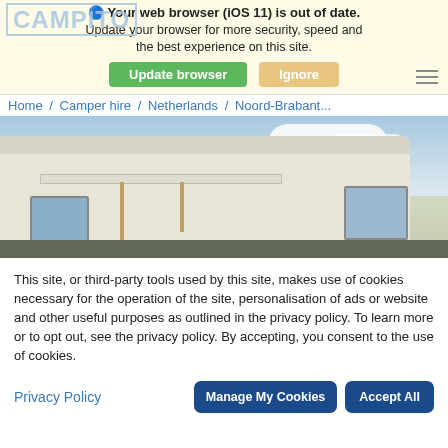Your web browser (iOS 11) is out of date. Update your browser for more security, speed and the best experience on this site.
Update browser  Ignore
[Figure (logo): CAMPITO logo in light blue outline letters]
Home / Camper hire / Netherlands / Noord-Brabant...
[Figure (photo): Close-up photo of the side of a white motorhome/camper with an awning extended, blue sky with clouds in background]
This site, or third-party tools used by this site, makes use of cookies necessary for the operation of the site, personalisation of ads or website and other useful purposes as outlined in the privacy policy. To learn more or to opt out, see the privacy policy. By accepting, you consent to the use of cookies.
Privacy Policy
Manage My Cookies
Accept All